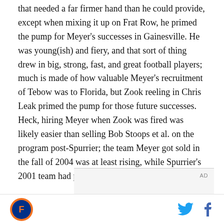that needed a far firmer hand than he could provide, except when mixing it up on Frat Row, he primed the pump for Meyer's successes in Gainesville. He was young(ish) and fiery, and that sort of thing drew in big, strong, fast, and great football players; much is made of how valuable Meyer's recruitment of Tebow was to Florida, but Zook reeling in Chris Leak primed the pump for those future successes. Heck, hiring Meyer when Zook was fired was likely easier than selling Bob Stoops et al. on the program post-Spurrier; the team Meyer got sold in the fall of 2004 was at least rising, while Spurrier's 2001 team had plateaued.
[Figure (other): Advertisement placeholder with 'AD' label]
Site logo | Twitter icon | Facebook icon